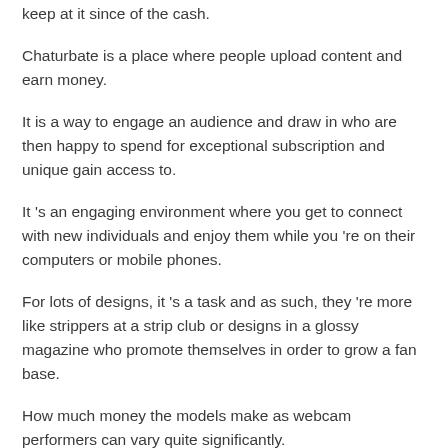keep at it since of the cash.
Chaturbate is a place where people upload content and earn money.
It is a way to engage an audience and draw in who are then happy to spend for exceptional subscription and unique gain access to.
It 's an engaging environment where you get to connect with new individuals and enjoy them while you 're on their computers or mobile phones.
For lots of designs, it 's a task and as such, they 're more like strippers at a strip club or designs in a glossy magazine who promote themselves in order to grow a fan base.
How much money the models make as webcam performers can vary quite significantly.